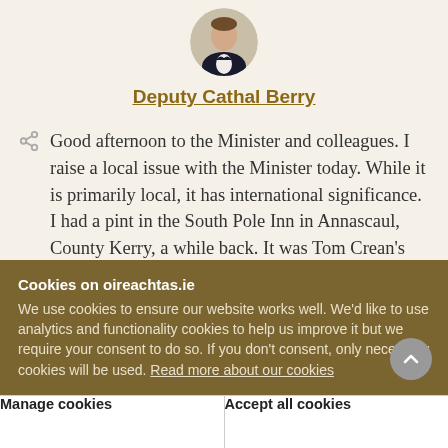[Figure (photo): Circular headshot photo of Deputy Cathal Berry in a suit]
Deputy Cathal Berry
Good afternoon to the Minister and colleagues. I raise a local issue with the Minister today. While it is primarily local, it has international significance. I had a pint in the South Pole Inn in Annascaul, County Kerry, a while back. It was Tom Crean's old pub. Last week, I got to visit the Shackleton Museum in Athy. I
Cookies on oireachtas.ie
We use cookies to ensure our website works well. We'd like to use analytics and functionality cookies to help us improve it but we require your consent to do so. If you don't consent, only necessary cookies will be used. Read more about our cookies
Manage cookies
Accept all cookies